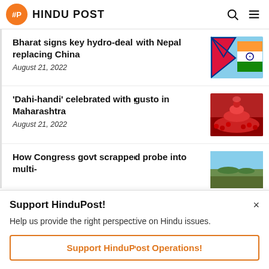HINDU POST
Bharat signs key hydro-deal with Nepal replacing China
August 21, 2022
[Figure (photo): Nepal and India flags side by side]
'Dahi-handi' celebrated with gusto in Maharashtra
August 21, 2022
[Figure (photo): Crowd celebrating Dahi-handi festival in red shirts]
How Congress govt scrapped probe into multi-
[Figure (photo): Partial article thumbnail image]
Support HinduPost!
Help us provide the right perspective on Hindu issues.
Support HinduPost Operations!